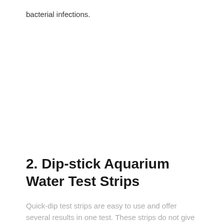bacterial infections.
2. Dip-stick Aquarium Water Test Strips
Quick-dip test strips are easy to use and offer several results in one test. These strips do not give very accurate results compared to an test-based approach...